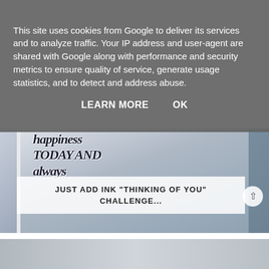This site uses cookies from Google to deliver its services and to analyze traffic. Your IP address and user-agent are shared with Google along with performance and security metrics to ensure quality of service, generate usage statistics, and to detect and address abuse.
LEARN MORE    OK
[Figure (photo): Close-up photo of a handmade greeting card with cursive/script text reading 'happiness TODAY AND always' on a blue-grey floral background, with botanical illustrations. A white semi-transparent overlay box in the lower portion contains text.]
JUST ADD INK "THINKING OF YOU" CHALLENGE...